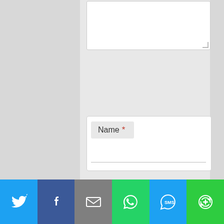[Figure (screenshot): Form fields: Name (required), Email (required), Website, and a checkbox for saving name/email/website. Bottom social sharing bar with Twitter, Facebook, Email, WhatsApp, SMS, and More buttons.]
Name *
Email *
Website
Save my name, email, and website in this